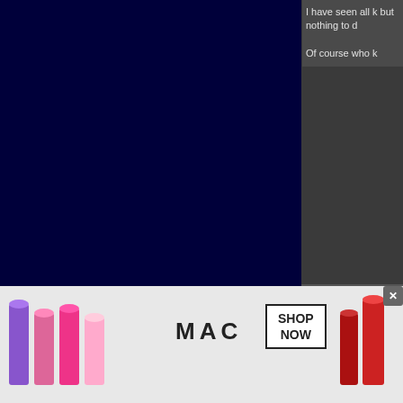[Figure (screenshot): Dark navy blue left panel background, part of a forum page layout]
I have seen all k but nothing to d
Of course who k
The Following U
Kurusu
07-24-2020, 1
StrawHat
SWCA Member
Quote:
[Figure (photo): MAC cosmetics advertisement banner with lipsticks in purple, pink, and red colors, MAC logo, and SHOP NOW button]